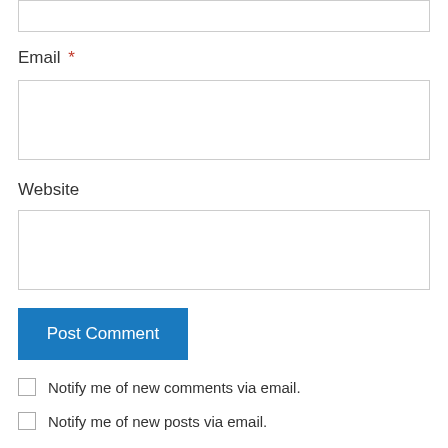Email *
Website
Post Comment
Notify me of new comments via email.
Notify me of new posts via email.
Pingback: The Official List of The Best Movies Ever, In